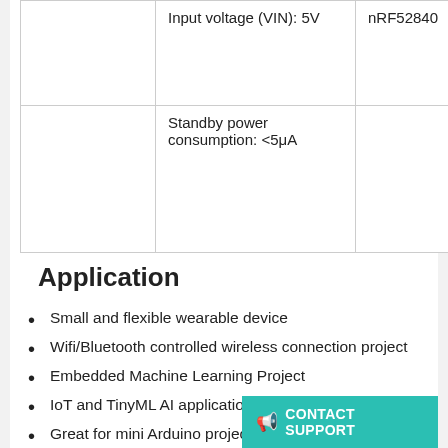|  |  |  |
| --- | --- | --- |
|  | Input voltage (VIN): 5V | nRF52840 |
|  | Standby power consumption: <5μA |  |
Application
Small and flexible wearable device
Wifi/Bluetooth controlled wireless connection project
Embedded Machine Learning Project
IoT and TinyML AI applications
Great for mini Arduino projec…